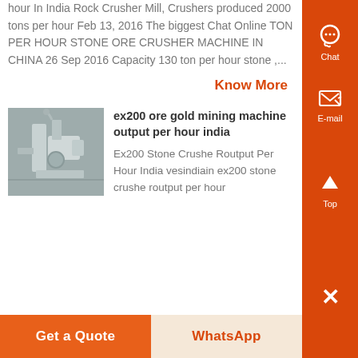hour In India  Rock Crusher Mill, Crushers produced 2000 tons per hour Feb 13, 2016 The biggest Chat Online TON PER HOUR STONE ORE CRUSHER MACHINE IN CHINA 26 Sep 2016 Capacity 130 ton per hour stone ,...
Know More
[Figure (photo): Industrial mining or crushing machinery, grey tones]
ex200 ore gold mining machine output per hour india
Ex200 Stone Crushe Routput Per Hour India vesindiain ex200 stone crushe routput per hour
Get a Quote
WhatsApp